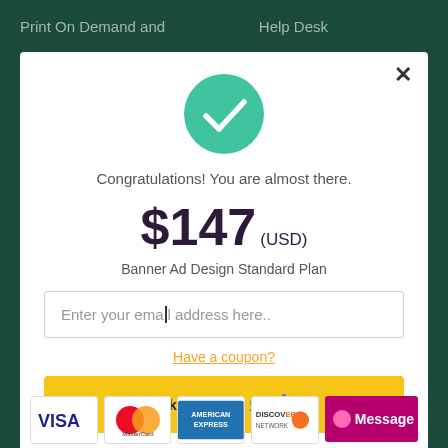Print On Demand and    Help Desk
[Figure (illustration): Green circle with white checkmark icon indicating success]
Congratulations! You are almost there.
$147 (USD)
Banner Ad Design Standard Plan
Enter your email address here..
Have a coupon?
Check out with stripe
[Figure (infographic): Payment method logos: VISA, MasterCard, American Express, Discover Network, and a Message chat badge]